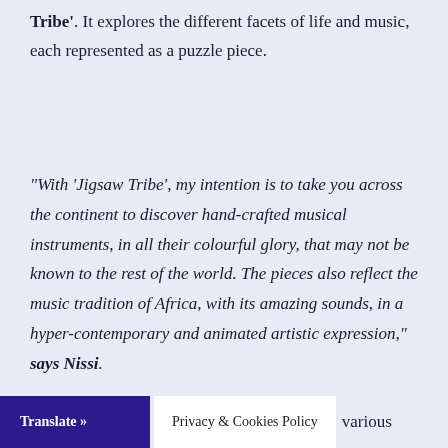Tribe'. It explores the different facets of life and music, each represented as a puzzle piece.
“With ‘Jigsaw Tribe’, my intention is to take you across the continent to discover hand-crafted musical instruments, in all their colourful glory, that may not be known to the rest of the world. The pieces also reflect the music tradition of Africa, with its amazing sounds, in a hyper-contemporary and animated artistic expression,” says Nissi.
Translate » | Privacy & Cookies Policy | various